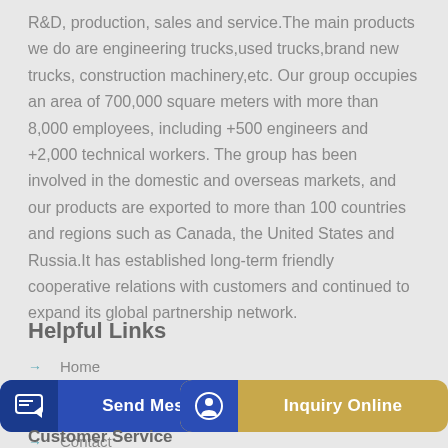R&D, production, sales and service.The main products we do are engineering trucks,used trucks,brand new trucks, construction machinery,etc. Our group occupies an area of 700,000 square meters with more than 8,000 employees, including +500 engineers and +2,000 technical workers. The group has been involved in the domestic and overseas markets, and our products are exported to more than 100 countries and regions such as Canada, the United States and Russia.It has established long-term friendly cooperative relations with customers and continued to expand its global partnership network.
Helpful Links
Home
About us
Products
Contact
Send Message
Inquiry Online
Customer Service